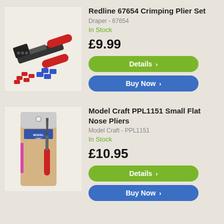[Figure (photo): Redline 67654 Crimping Plier Set - red-handled crimping pliers with blue and red electrical connectors]
Redline 67654 Crimping Plier Set
Draper - 67654
In Stock
£9.99
Details >
Buy Now >
[Figure (photo): Model Craft PPL1151 Small Flat Nose Pliers in retail packaging - small red-handled flat nose pliers on card backing]
Model Craft PPL1151 Small Flat Nose Pliers
Model Craft - PPL1151
In Stock
£10.95
Details >
Buy Now >